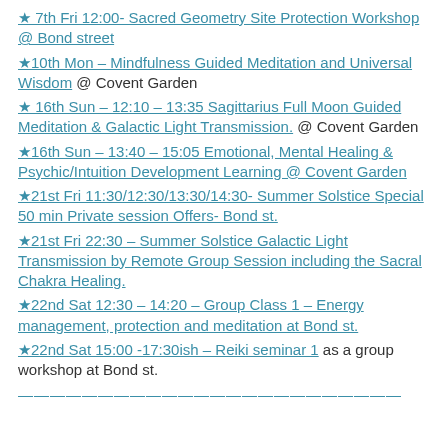★ 7th Fri 12:00- Sacred Geometry Site Protection Workshop @ Bond street
★10th Mon – Mindfulness Guided Meditation and Universal Wisdom @ Covent Garden
★ 16th Sun – 12:10 – 13:35 Sagittarius Full Moon Guided Meditation & Galactic Light Transmission. @ Covent Garden
★16th Sun – 13:40 – 15:05 Emotional, Mental Healing & Psychic/Intuition Development Learning @ Covent Garden
★21st Fri 11:30/12:30/13:30/14:30- Summer Solstice Special 50 min Private session Offers- Bond st.
★21st Fri 22:30 – Summer Solstice Galactic Light Transmission by Remote Group Session including the Sacral Chakra Healing.
★22nd Sat 12:30 – 14:20 – Group Class 1 – Energy management, protection and meditation at Bond st.
★22nd Sat 15:00 -17:30ish – Reiki seminar 1 as a group workshop at Bond st.
————————————————————————